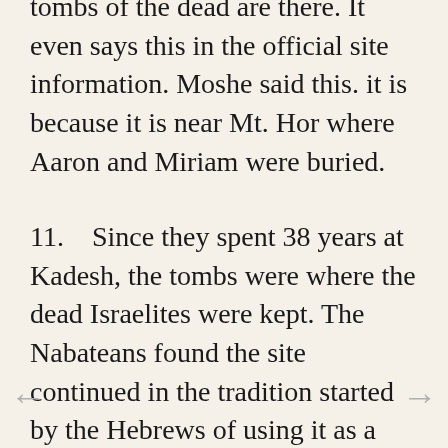tombs of the dead are there. It even says this in the official site information. Moshe said this. it is because it is near Mt. Hor where Aaron and Miriam were buried.
11.    Since they spent 38 years at Kadesh, the tombs were where the dead Israelites were kept. The Nabateans found the site continued in the tradition started by the Hebrews of using it as a burial city. "The city underwent major construction in the period 50 BC to AD 100 during the reigns